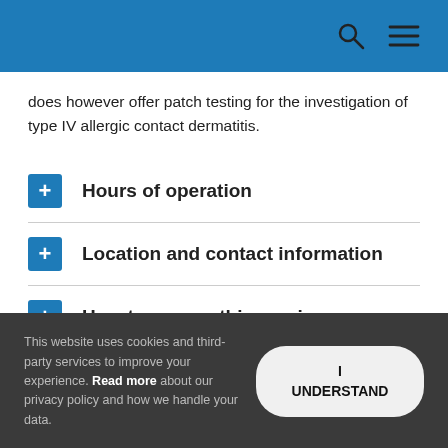[Header with search and menu icons]
does however offer patch testing for the investigation of type IV allergic contact dermatitis.
+ Hours of operation
+ Location and contact information
+ How to access this service
This website uses cookies and third-party services to improve your experience. Read more about our privacy policy and how we handle your data.
I UNDERSTAND